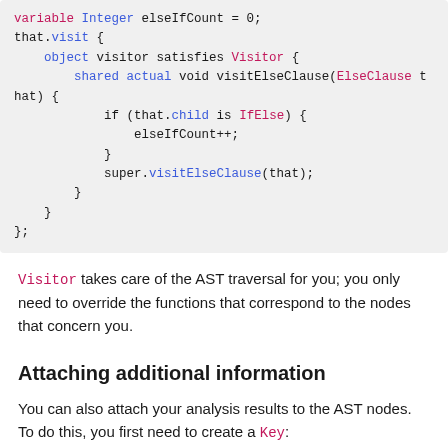[Figure (screenshot): Code block showing Ceylon/similar language code with that.visit block containing a visitor object with visitElseClause method]
Visitor takes care of the AST traversal for you; you only need to override the functions that correspond to the nodes that concern you.
Attaching additional information
You can also attach your analysis results to the AST nodes. To do this, you first need to create a Key:
[Figure (screenshot): Code block showing: shared Key<Token[]> tokensKey]